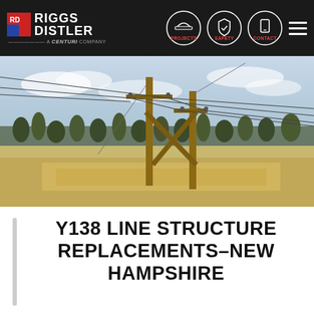Riggs Distler – A CENTURI Company | PROJECTS | SAFETY | CONTACT
[Figure (photo): Outdoor photo of high-voltage transmission line H-frame wooden poles with cross-bracing and conductors/wires, in a cleared area with dry grass/sand and tree line in background under cloudy sky.]
Y138 LINE STRUCTURE REPLACEMENTS–NEW HAMPSHIRE